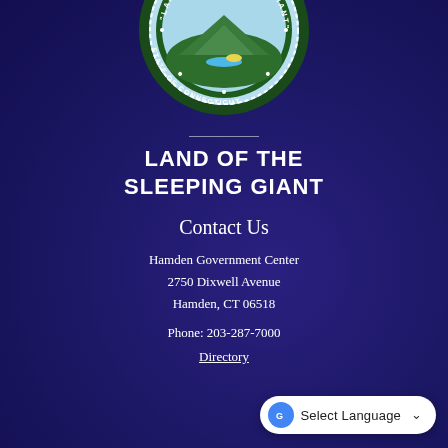[Figure (logo): State of Connecticut seal — circular badge with 'Land of the Sleeping Giant' text inside and 'State of Connecticut' around the border, partially cropped at top]
LAND OF THE SLEEPING GIANT
Contact Us
Hamden Government Center
2750 Dixwell Avenue
Hamden, CT 06518
Phone: 203-287-7000
Directory